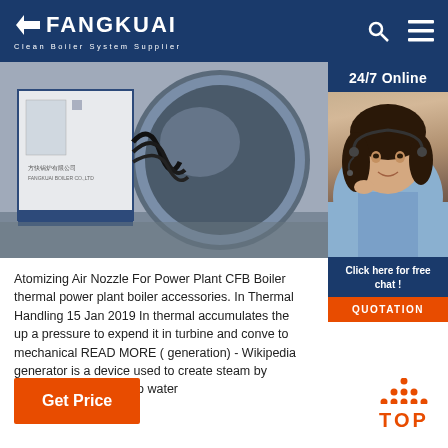FANGKUAI Clean Boiler System Supplier
[Figure (photo): Industrial boiler equipment - CFB boiler machinery with cables and circular tank, photographed in a facility setting]
[Figure (photo): 24/7 Online customer service representative - woman with headset smiling, with chat and quotation buttons]
Atomizing Air Nozzle For Power Plant CFB Boiler thermal power plant boiler accessories. In Thermal Handling 15 Jan 2019 In thermal accumulates the up a pressure to expend it in turbine and conve to mechanical READ MORE ( generation) - Wikipedia generator is a device used to create steam by applying heat energy to water
Get Price
TOP